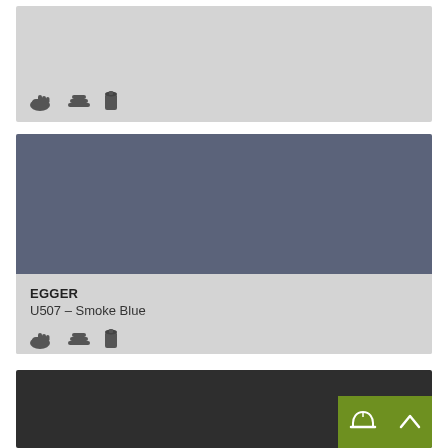[Figure (other): Top color card with light gray background and three material/product icons at bottom left]
[Figure (other): Middle color card showing EGGER U507 Smoke Blue color swatch (blue-gray) with product name, color code, and three material icons]
EGGER
U507 – Smoke Blue
[Figure (other): Bottom partial card with very dark gray/charcoal background and a green button area at bottom right with helmet icon and up-arrow icon]